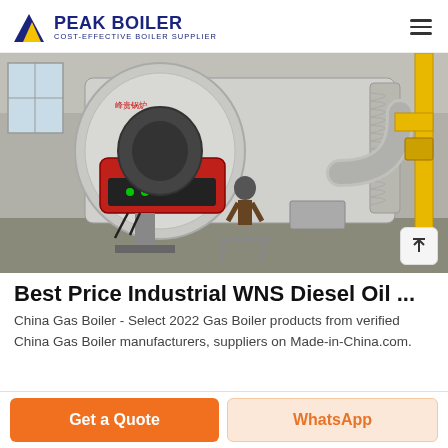PEAK BOILER COST-EFFECTIVE BOILER SUPPLIER
[Figure (photo): Industrial WNS diesel oil gas boiler installed in a factory, showing a large cylindrical boiler with a red burner and yellow gas pipes on the right side]
Best Price Industrial WNS Diesel Oil ...
China Gas Boiler - Select 2022 Gas Boiler products from verified China Gas Boiler manufacturers, suppliers on Made-in-China.com.